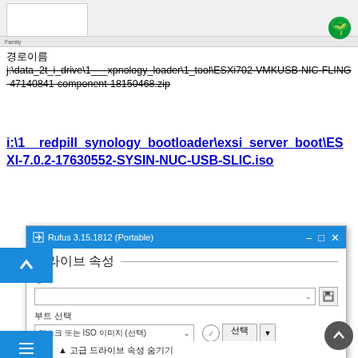[Figure (screenshot): Top portion of a software window screenshot with white box placeholder and logo icon]
경로이름
j:\data_2t_i_drive\1___xpnology_loader\1_tool\ESXi702-VMKUSB-NIC-FLING-47140841-component-18150468.zip (strikethrough)
i:\1__redpill_synology_bootloader\exsi_server_boot\ESXI-7.0.2-17630552-SYSIN-NUC-USB-SLIC.iso
[Figure (screenshot): Rufus 3.15.1812 (Portable) application window showing drive properties section with fields for device, boot selection (Disk or ISO image), partition scheme, and target system. Korean UI language.]